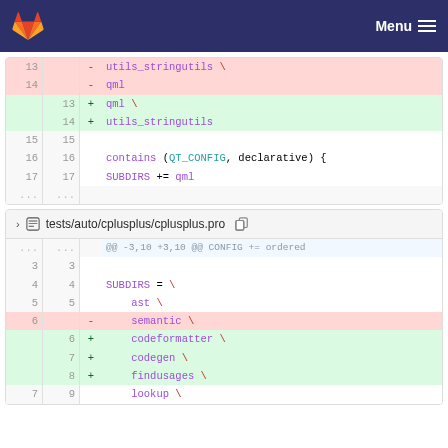GitLab navigation bar with Menu
[Figure (screenshot): Git diff view showing two file diffs. First diff (partial): lines 13-17 showing removal of utils_stringutils and qml, addition of qml and utils_stringutils, and unchanged lines with contains(QT_CONFIG, declarative) block. Second diff file: tests/auto/cplusplus/cplusplus.pro showing hunk @@ -3,10 +3,10 @@ CONFIG += ordered, lines 3-9 with SUBDIRS list changes removing semantic and adding codeformatter, codegen, findusages.]